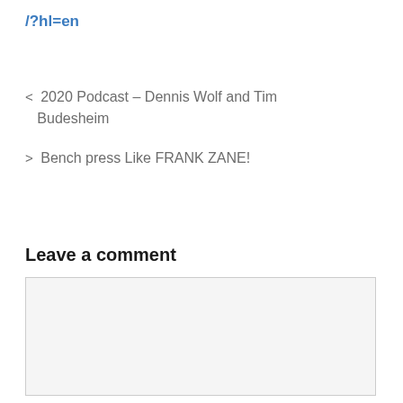/?hl=en
< 2020 Podcast – Dennis Wolf and Tim Budesheim
> Bench press Like FRANK ZANE!
Leave a comment
[Figure (other): Empty comment text input box with light gray background and border]